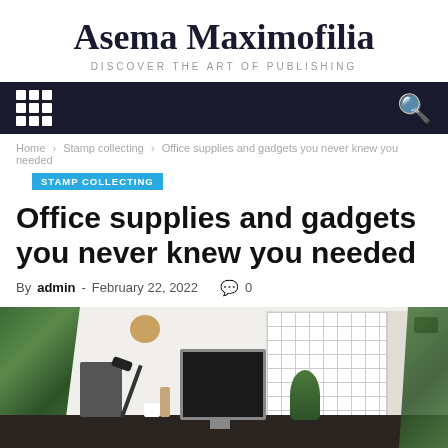Asema Maximofilia
DISCOVER THE ART OF PUBLISHING
Home › Stamp collecting › Office supplies and gadgets you never knew you needed
STAMP COLLECTING
Office supplies and gadgets you never knew you needed
By admin - February 22, 2022  0
[Figure (photo): A modern minimalist office desk with a dark wooden surface, a black desk lamp, a laptop/monitor with black screen, a small wooden mannequin figure, a decorative patterned cushion, plants, a wicker basket on the wall, a grid pegboard panel on the wall with shelving on the right side holding a camera and plants.]